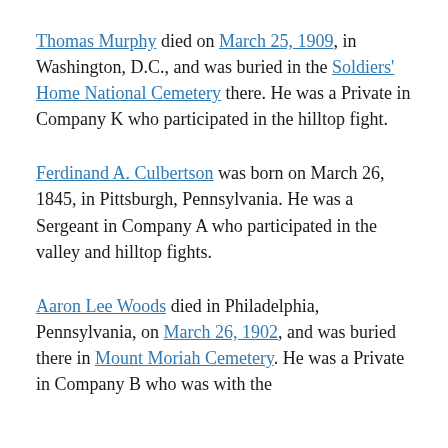Thomas Murphy died on March 25, 1909, in Washington, D.C., and was buried in the Soldiers' Home National Cemetery there. He was a Private in Company K who participated in the hilltop fight.
Ferdinand A. Culbertson was born on March 26, 1845, in Pittsburgh, Pennsylvania. He was a Sergeant in Company A who participated in the valley and hilltop fights.
Aaron Lee Woods died in Philadelphia, Pennsylvania, on March 26, 1902, and was buried there in Mount Moriah Cemetery. He was a Private in Company B who was with the